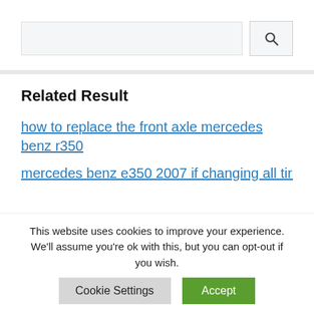[Figure (screenshot): Search input box and search button with magnifying glass icon]
Related Result
how to replace the front axle mercedes benz r350
mercedes benz e350 2007 if changing all tires is alignment necessary?
This website uses cookies to improve your experience. We'll assume you're ok with this, but you can opt-out if you wish.
Cookie Settings  Accept